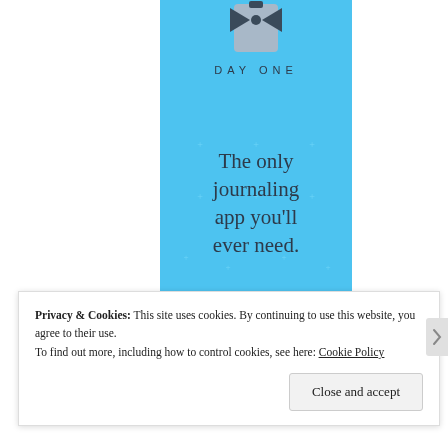[Figure (illustration): Day One journaling app advertisement. Light blue background with small star/cross decorations. Shows a bowtie icon and the text 'DAY ONE' as a logo at the top. Large text reads 'The only journaling app you'll ever need.']
Privacy & Cookies: This site uses cookies. By continuing to use this website, you agree to their use. To find out more, including how to control cookies, see here: Cookie Policy
Close and accept